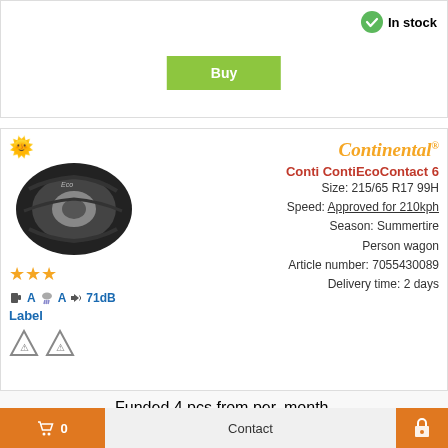In stock
Buy
[Figure (photo): Continental Conti ContiEcoContact 6 tyre image with sun icon, 3-star rating, EU label A/A/71dB, and warning symbols]
Continental
Conti ContiEcoContact 6
Size: 215/65 R17 99H
Speed: Approved for 210kph
Season: Summertire
Person wagon
Article number: 7055430089
Delivery time: 2 days
129,75 EUR
each.
Funded 4 pcs from per. month.
14,01 EUR
4
In stock
0
Contact